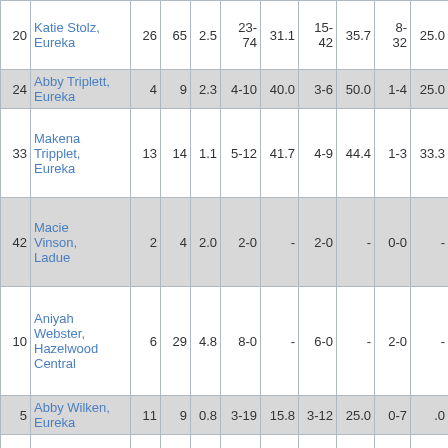| # | Name | G | PTS | AVG | FG | FG% | 2PT | 2PT% | 3PT | 3PT% |
| --- | --- | --- | --- | --- | --- | --- | --- | --- | --- | --- |
| 20 | Katie Stolz, Eureka | 26 | 65 | 2.5 | 23-74 | 31.1 | 15-42 | 35.7 | 8-32 | 25.0 |
| 24 | Abby Triplett, Eureka | 4 | 9 | 2.3 | 4-10 | 40.0 | 3-6 | 50.0 | 1-4 | 25.0 |
| 33 | Makena Tripplet, Eureka | 13 | 14 | 1.1 | 5-12 | 41.7 | 4-9 | 44.4 | 1-3 | 33.3 |
| 42 | Macie Vinson, Ladue | 2 | 4 | 2.0 | 2-0 | - | 2-0 | - | 0-0 | - |
| 10 | Aniyah Webster, Hazelwood Central | 6 | 29 | 4.8 | 8-0 | - | 6-0 | - | 2-0 | - |
| 5 | Abby Wilken, Eureka | 11 | 9 | 0.8 | 3-19 | 15.8 | 3-12 | 25.0 | 0-7 | .0 |
| 30 | Kennedy Williams, Hazelwood Central | 5 | 19 | 3.8 | 7-0 | - | 7-0 | - | 0-0 | - |